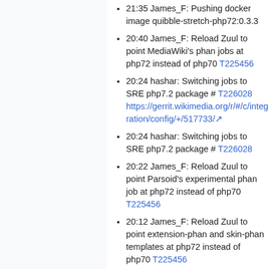21:35 James_F: Pushing docker image quibble-stretch-php72:0.3.3
20:40 James_F: Reload Zuul to point MediaWiki's phan jobs at php72 instead of php70 T225456
20:24 hashar: Switching jobs to SRE php7.2 package # T226028 https://gerrit.wikimedia.org/r/#/c/integration/config/+/517733/
20:24 hashar: Switching jobs to SRE php7.2 package # T226028
20:22 James_F: Reload Zuul to point Parsoid's experimental phan job at php72 instead of php70 T225456
20:12 James_F: Reload Zuul to point extension-phan and skin-phan templates at php72 instead of php70 T225456
19:51 hashar: building containers for php7.2 from SRE # T226028